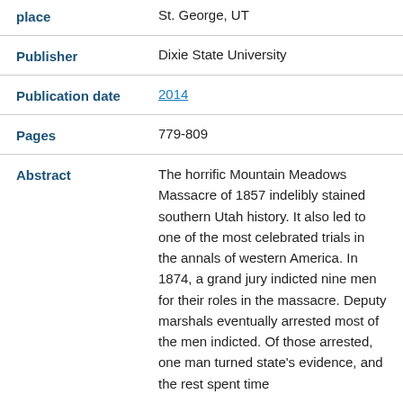| Field | Value |
| --- | --- |
| place | St. George, UT |
| Publisher | Dixie State University |
| Publication date | 2014 |
| Pages | 779-809 |
| Abstract | The horrific Mountain Meadows Massacre of 1857 indelibly stained southern Utah history. It also led to one of the most celebrated trials in the annals of western America. In 1874, a grand jury indicted nine men for their roles in the massacre. Deputy marshals eventually arrested most of the men indicted. Of those arrested, one man turned state's evidence, and the rest spent time |